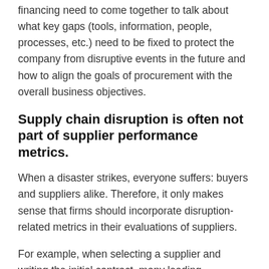financing need to come together to talk about what key gaps (tools, information, people, processes, etc.) need to be fixed to protect the company from disruptive events in the future and how to align the goals of procurement with the overall business objectives.
Supply chain disruption is often not part of supplier performance metrics.
When a disaster strikes, everyone suffers: buyers and suppliers alike. Therefore, it only makes sense that firms should incorporate disruption-related metrics in their evaluations of suppliers.
For example, when selecting a supplier and writing the initial contract, many leading companies include language that requires the supplier to participate annually in its supply-chain mapping efforts. When force majeure events like the current pandemic strike, those